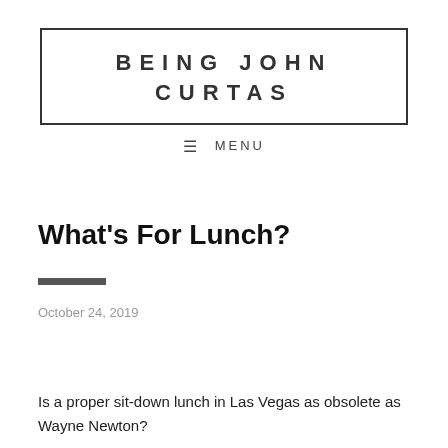BEING JOHN CURTAS
☰ MENU
What's For Lunch?
October 24, 2019
Is a proper sit-down lunch in Las Vegas as obsolete as Wayne Newton?